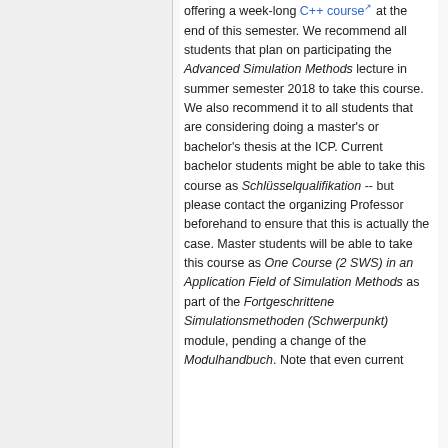offering a week-long C++ course at the end of this semester. We recommend all students that plan on participating the Advanced Simulation Methods lecture in summer semester 2018 to take this course. We also recommend it to all students that are considering doing a master's or bachelor's thesis at the ICP. Current bachelor students might be able to take this course as Schlüsselqualifikation -- but please contact the organizing Professor beforehand to ensure that this is actually the case. Master students will be able to take this course as One Course (2 SWS) in an Application Field of Simulation Methods as part of the Fortgeschrittene Simulationsmethoden (Schwerpunkt) module, pending a change of the Modulhandbuch. Note that even current